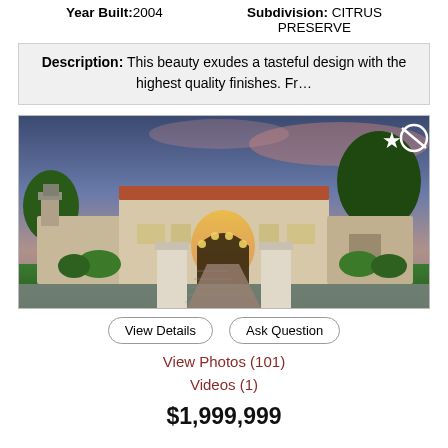Year Built: 2004    Subdivision: CITRUS PRESERVE
Description: This beauty exudes a tasteful design with the highest quality finishes. Fr…
[Figure (photo): Exterior photo of a Spanish-style luxury home at dusk with illuminated arched entrance, two white gate pillars, brick driveway, lush green lawn, and trees under a colorful sky. Star and block/cancel icons in upper right corner.]
View Details    Ask Question
View Photos (101)
Videos (1)
$1,999,999